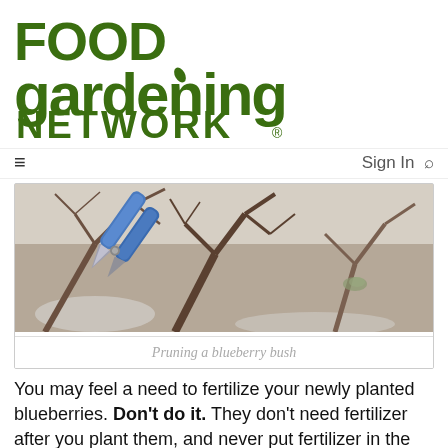[Figure (logo): Food Gardening Network logo in dark green bold text]
Sign In 🔍
[Figure (photo): Pruning a blueberry bush — blue pruning shears cutting bare winter branches]
Pruning a blueberry bush
You may feel a need to fertilize your newly planted blueberries. Don't do it. They don't need fertilizer after you plant them, and never put fertilizer in the planting hole. You can give them a little bit (add more of 10-10-10 fertilizer after...